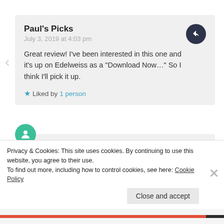Paul's Picks
July 3, 2019 at 4:03 pm
Great review! I've been interested in this one and it's up on Edelweiss as a "Download Now..." So I think I'll pick it up.
Liked by 1 person
whatsnonfiction
July 3, 2019 at 11:09 pm
Privacy & Cookies: This site uses cookies. By continuing to use this website, you agree to their use.
To find out more, including how to control cookies, see here: Cookie Policy
Close and accept